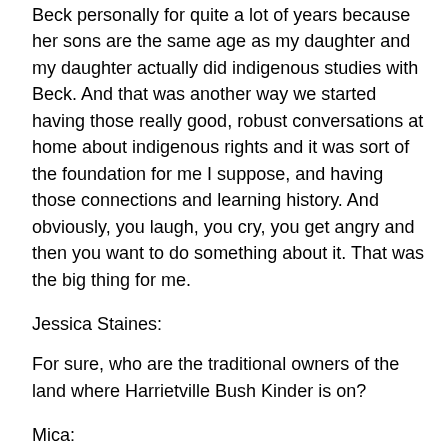Beck personally for quite a lot of years because her sons are the same age as my daughter and my daughter actually did indigenous studies with Beck. And that was another way we started having those really good, robust conversations at home about indigenous rights and it was sort of the foundation for me I suppose, and having those connections and learning history. And obviously, you laugh, you cry, you get angry and then you want to do something about it. That was the big thing for me.
Jessica Staines:
For sure, who are the traditional owners of the land where Harrietville Bush Kinder is on?
Mica:
Harrietville Bush Kinder is Dodoroa land and in Bright, it's Tunra. So, it's a little bit tricky. I don't want to speak out of my...
Jessica Staines: